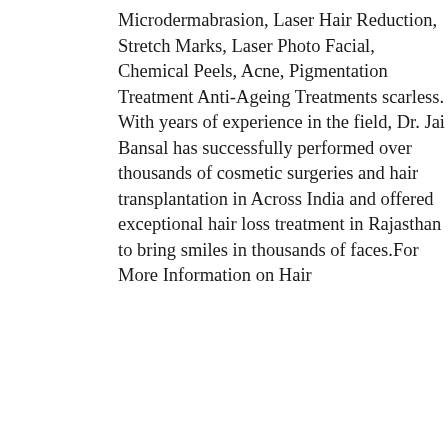Microdermabrasion, Laser Hair Reduction, Stretch Marks, Laser Photo Facial, Chemical Peels, Acne, Pigmentation Treatment Anti-Ageing Treatments scarless. With years of experience in the field, Dr. Jai Bansal has successfully performed over thousands of cosmetic surgeries and hair transplantation in Across India and offered exceptional hair loss treatment in Rajasthan to bring smiles in thousands of faces.For More Information on Hair